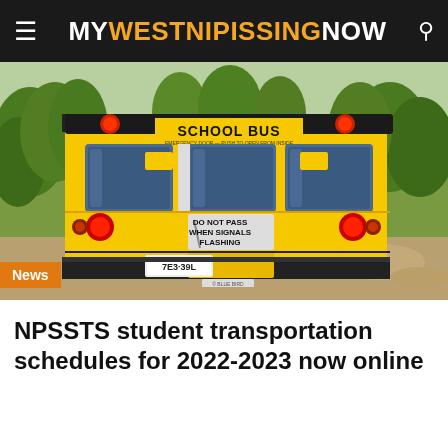MY WESTNIPISSING NOW
[Figure (photo): Rear view of a yellow school bus with 'SCHOOL BUS' text on top, 'DO NOT PASS WHEN SIGNALS FLASHING' sign in center, license plate 7E3-39L, number 8190, parked on a dirt road surrounded by green trees. A 'News' badge overlays the bottom-left corner of the image.]
NPSSTS student transportation schedules for 2022-2023 now online